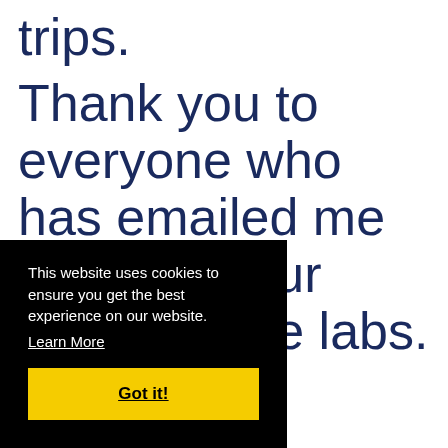trips.
Thank you to everyone who has emailed me photos of our new science labs. You can
This website uses cookies to ensure you get the best experience on our website. Learn More
Got it!